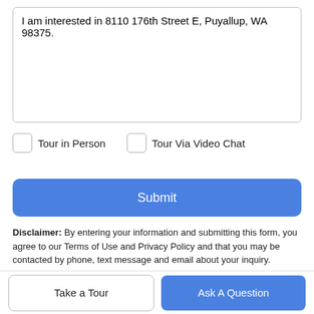I am interested in 8110 176th Street  E, Puyallup, WA 98375.
Tour in Person
Tour Via Video Chat
Submit
Disclaimer: By entering your information and submitting this form, you agree to our Terms of Use and Privacy Policy and that you may be contacted by phone, text message and email about your inquiry.
The listing data relating to real estate for sale on this web site
Take a Tour
Ask A Question